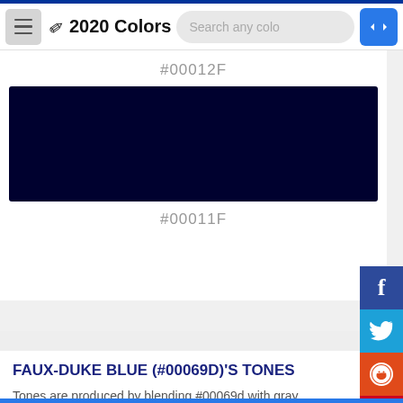2020 Colors — Search any colo
#00012F
[Figure (illustration): Color swatch showing dark navy/near-black color #00012F]
#00011F
FAUX-DUKE BLUE (#00069D)'S TONES
Tones are produced by blending #00069d with gray